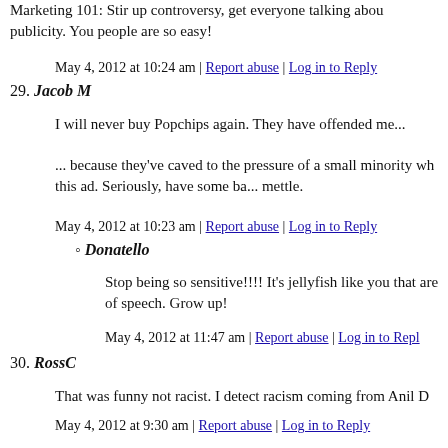Marketing 101: Stir up controversy, get everyone talking about publicity. You people are so easy!
May 4, 2012 at 10:24 am | Report abuse | Log in to Reply
29. Jacob M
I will never buy Popchips again. They have offended me...
... because they've caved to the pressure of a small minority wh this ad. Seriously, have some ba... mettle.
May 4, 2012 at 10:23 am | Report abuse | Log in to Reply
Donatello
Stop being so sensitive!!!! It's jellyfish like you that are of speech. Grow up!
May 4, 2012 at 11:47 am | Report abuse | Log in to Repl
30. RossC
That was funny not racist. I detect racism coming from Anil D
May 4, 2012 at 9:30 am | Report abuse | Log in to Reply
31. Ashton
Ashton Kutcher is the most awesome guy ever! He's a real ladi and he shor n the